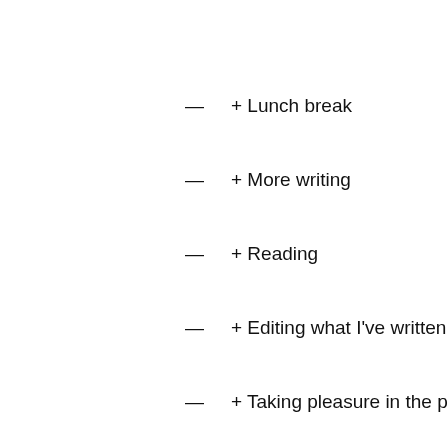— + Lunch break
— + More writing
— + Reading
— + Editing what I've written
— + Taking pleasure in the pure elation of NOT B
+ Sleepytime
Food festival starts tomorrow though so maybe I'll haw day vacation to Lombok and Komodo Island next week a 3 Bali Volcanos in 24 hours overnight excursion. So